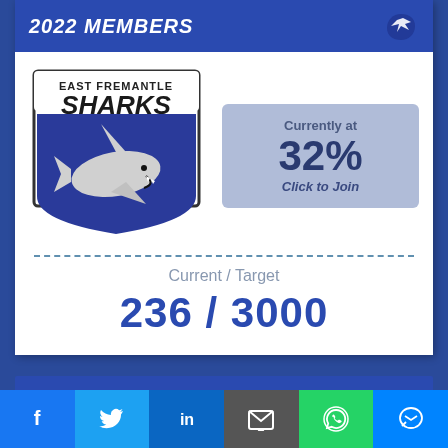2022 MEMBERS
[Figure (logo): East Fremantle Sharks club logo — shield shape with shark graphic, text 'EAST FREMANTLE SHARKS' at top]
Currently at 32% Click to Join
Current / Target
236 / 3000
[Figure (infographic): Social share bar with icons: Facebook (f), Twitter bird, LinkedIn (in), email envelope, WhatsApp, Messenger]